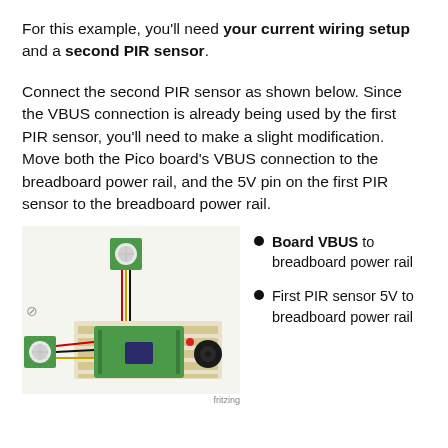For this example, you'll need your current wiring setup and a second PIR sensor.
Connect the second PIR sensor as shown below. Since the VBUS connection is already being used by the first PIR sensor, you'll need to make a slight modification. Move both the Pico board's VBUS connection to the breadboard power rail, and the 5V pin on the first PIR sensor to the breadboard power rail.
[Figure (engineering-diagram): Fritzing wiring diagram showing a Raspberry Pi Pico on a breadboard connected to two PIR sensors and a buzzer. One PIR sensor is at the top connected via colored wires, another is on the left. A black buzzer is at the right of the breadboard.]
Board VBUS to breadboard power rail
First PIR sensor 5V to breadboard power rail